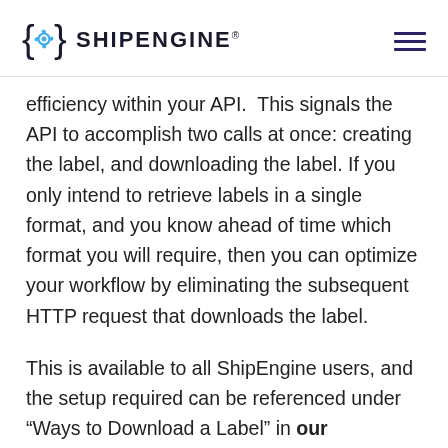ShipEngine
efficiency within your API.  This signals the API to accomplish two calls at once: creating the label, and downloading the label. If you only intend to retrieve labels in a single format, and you know ahead of time which format you will require, then you can optimize your workflow by eliminating the subsequent HTTP request that downloads the label.
This is available to all ShipEngine users, and the setup required can be referenced under “Ways to Download a Label” in our